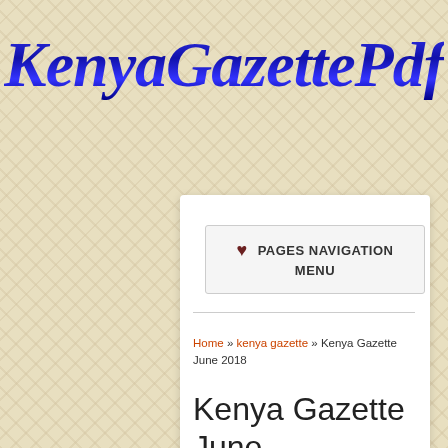[Figure (logo): KenyaGazettePdf logo in dark blue italic script font on a beige diamond-pattern background]
PAGES NAVIGATION MENU
Home » kenya gazette » Kenya Gazette June 2018
Kenya Gazette June 2018